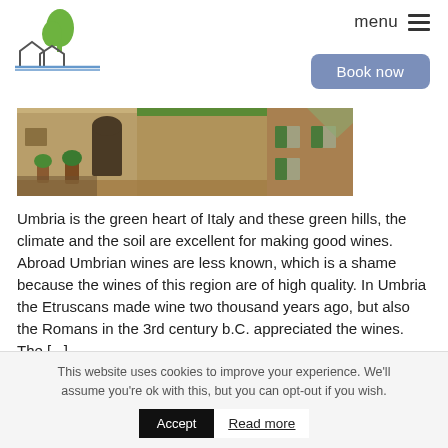[Figure (logo): House/cottage logo with green tree above two small house outlines and a blue horizontal line base]
menu ≡
Book now
[Figure (photo): Panoramic photo of an Italian stone village/farmhouse with stone walls, archway, plants and green-shuttered windows in warm sunlight]
Umbria is the green heart of Italy and these green hills, the climate and the soil are excellent for making good wines. Abroad Umbrian wines are less known, which is a shame because the wines of this region are of high quality. In Umbria the Etruscans made wine two thousand years ago, but also the Romans in the 3rd century b.C. appreciated the wines. The [...]
This website uses cookies to improve your experience. We'll assume you're ok with this, but you can opt-out if you wish.
Accept
Read more